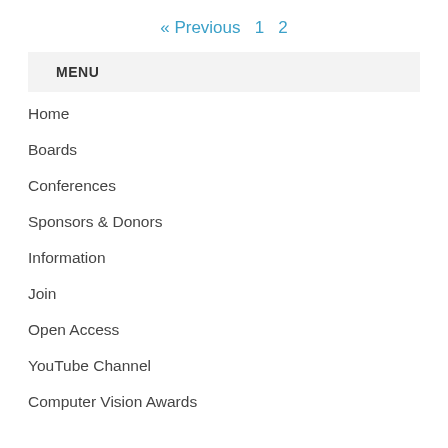« Previous  1  2
MENU
Home
Boards
Conferences
Sponsors & Donors
Information
Join
Open Access
YouTube Channel
Computer Vision Awards